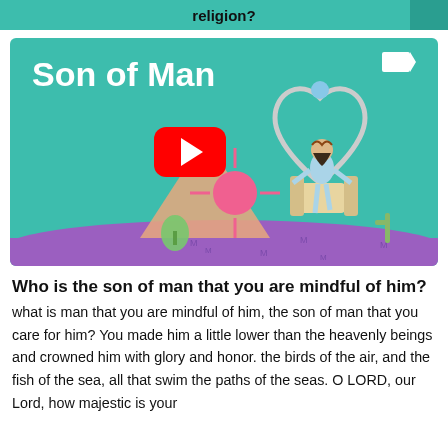religion?
[Figure (screenshot): YouTube video thumbnail for 'Son of Man' showing a teal background with the title text in white bold, a YouTube play button in red, and an illustration of a robed figure with a crown of thorns sitting on a throne inside a heart-shaped arch, with stylized landscape elements.]
Who is the son of man that you are mindful of him?
what is man that you are mindful of him, the son of man that you care for him? You made him a little lower than the heavenly beings and crowned him with glory and honor. the birds of the air, and the fish of the sea, all that swim the paths of the seas. O LORD, our Lord, how majestic is your